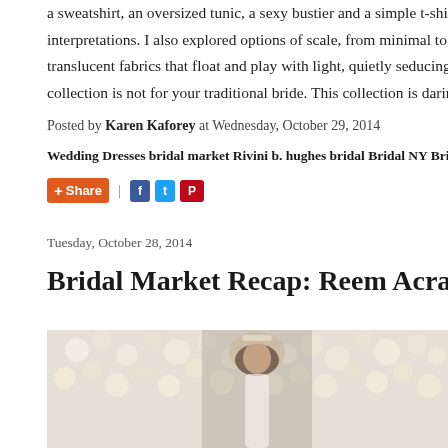a sweatshirt, an oversized tunic, a sexy bustier and a simple t-shirt and... interpretations. I also explored options of scale, from minimal to gran... translucent fabrics that float and play with light, quietly seducing the e... collection is not for your traditional bride. This collection is daring... b...
Posted by Karen Kaforey at Wednesday, October 29, 2014
Wedding Dresses bridal market Rivini b. hughes bridal Bridal NY Bri...
Share | [social buttons]
Tuesday, October 28, 2014
Bridal Market Recap: Reem Acra
[Figure (photo): Photo of a model wearing a wedding dress with a floral crown/tiara, standing in front of a wall of white and cream flowers at the Reem Acra bridal market presentation.]